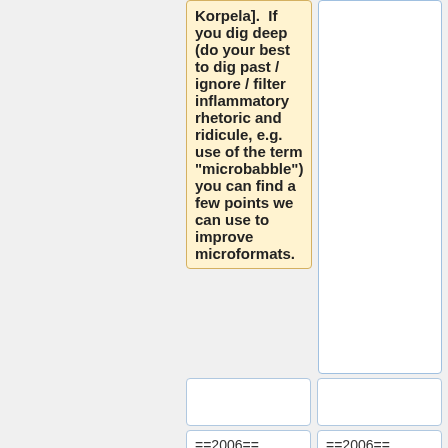Korpela].  If you dig deep (do your best to dig past / ignore / filter inflammatory rhetoric and ridicule, e.g. use of the term "microbabble") you can find a few points we can use to improve microformats.
(empty cell)
(empty cell right)
==2006==
==2006==
Line 21:
Line 21:
** Let me say that I actually like
** Let me say that I actually like